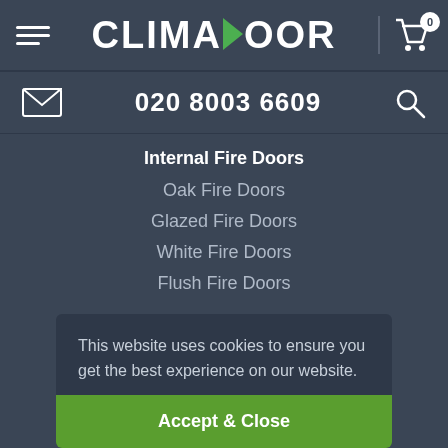CLIMADOOR
020 8003 6609
Internal Fire Doors
Oak Fire Doors
Glazed Fire Doors
White Fire Doors
Flush Fire Doors
This website uses cookies to ensure you get the best experience on our website.
More Information
Accept & Close